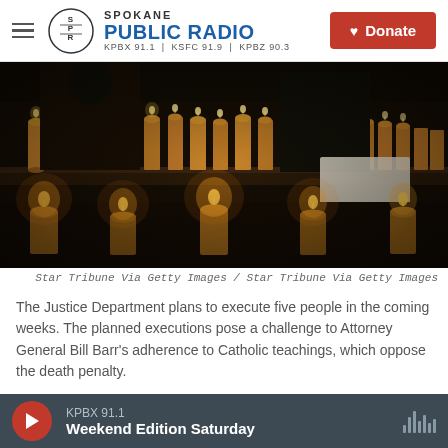Spokane Public Radio — KPBX 91.1 | KSFC 91.9 | KPBZ 90.3 — Donate
[Figure (photo): Rows of lit candles in a dark church setting with two people visible in the background]
Star Tribune Via Getty Images / Star Tribune Via Getty Images
The Justice Department plans to execute five people in the coming weeks. The planned executions pose a challenge to Attorney General Bill Barr's adherence to Catholic teachings, which oppose the death penalty.
For the ninth time in six months, the Trump
KPBX 91.1 — Weekend Edition Saturday